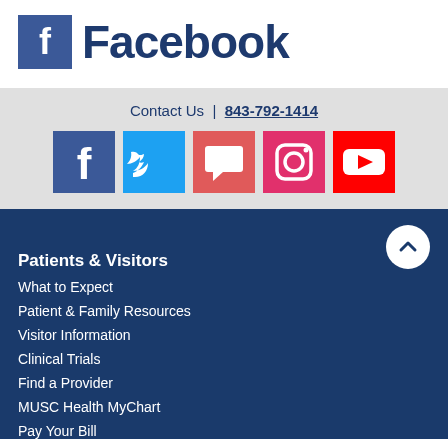[Figure (logo): Facebook logo with blue square icon and Facebook text]
Contact Us | 843-792-1414
[Figure (infographic): Row of social media icons: Facebook, Twitter, Chat, Instagram, YouTube]
Patients & Visitors
What to Expect
Patient & Family Resources
Visitor Information
Clinical Trials
Find a Provider
MUSC Health MyChart
Pay Your Bill